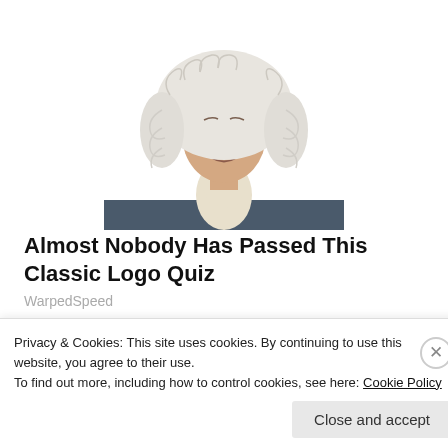[Figure (illustration): Illustration of a historical figure in 18th-century attire with powdered wig and white cravat, shown from the chest up against a white background]
Almost Nobody Has Passed This Classic Logo Quiz
WarpedSpeed
Pass it on:
Email | Facebook | Twitter | Pinterest | More
Privacy & Cookies: This site uses cookies. By continuing to use this website, you agree to their use.
To find out more, including how to control cookies, see here: Cookie Policy
Close and accept
Follow